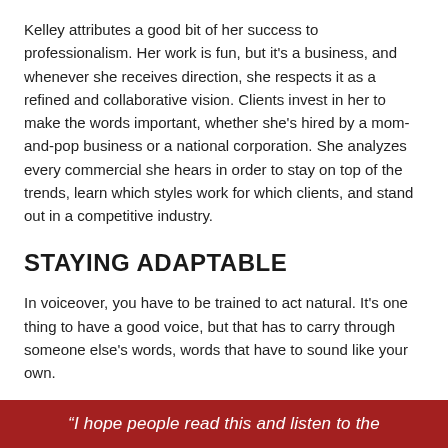Kelley attributes a good bit of her success to professionalism. Her work is fun, but it's a business, and whenever she receives direction, she respects it as a refined and collaborative vision. Clients invest in her to make the words important, whether she's hired by a mom-and-pop business or a national corporation. She analyzes every commercial she hears in order to stay on top of the trends, learn which styles work for which clients, and stand out in a competitive industry.
STAYING ADAPTABLE
In voiceover, you have to be trained to act natural. It's one thing to have a good voice, but that has to carry through someone else's words, words that have to sound like your own.
Kelley's clients often comment on how easily she adapts to direction. She can record as a smiling, maternal mom for a national fast food chain, and easily switch to authoritative and accessible medical narration. She's known for engaging the audience and shaping her voice to the message instinctively.
“I hope people read this and listen to the